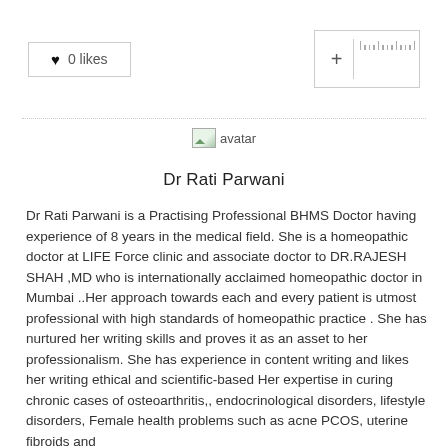[Figure (infographic): Likes box showing heart icon and '0 likes', and a plus button with ruler marks on the right]
[Figure (photo): Avatar image placeholder for Dr Rati Parwani]
Dr Rati Parwani
Dr Rati Parwani is a Practising Professional BHMS Doctor having experience of 8 years in the medical field. She is a homeopathic doctor at LIFE Force clinic and associate doctor to DR.RAJESH SHAH ,MD who is internationally acclaimed homeopathic doctor in Mumbai ..Her approach towards each and every patient is utmost professional with high standards of homeopathic practice . She has nurtured her writing skills and proves it as an asset to her professionalism. She has experience in content writing and likes her writing ethical and scientific-based Her expertise in curing chronic cases of osteoarthritis,, endocrinological disorders, lifestyle disorders, Female health problems such as acne PCOS, uterine fibroids and